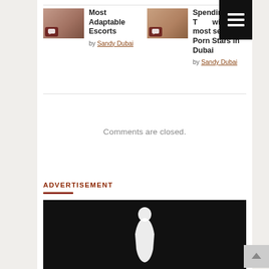Most Adaptable Escorts by Sandy Dubai
Spending Time with most sensual Porn Stars in Dubai by Sandy Dubai
Comments are closed.
ADVERTISEMENT
[Figure (photo): Dark/black advertisement image with white silhouette figure]
[Figure (other): Hamburger menu button (black background, three white lines)]
[Figure (other): Scroll-to-top button (gray, upward arrow)]